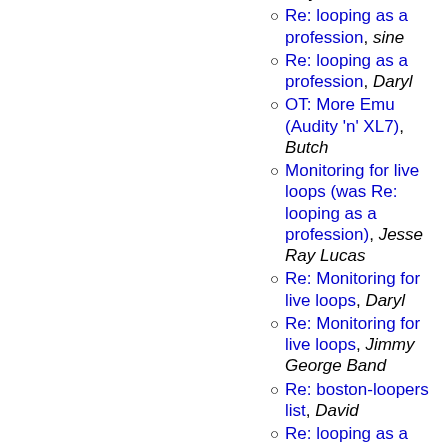Novey
Re: looping as a profession, sine
Re: looping as a profession, Daryl
OT: More Emu (Audity 'n' XL7), Butch
Monitoring for live loops (was Re: looping as a profession), Jesse Ray Lucas
Re: Monitoring for live loops, Daryl
Re: Monitoring for live loops, Jimmy George Band
Re: boston-loopers list, David
Re: looping as a profession, David
Re: Monitoring for live loops (was Re: looping as a profession), Goddess
Re: average age of the